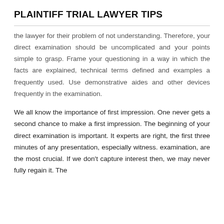PLAINTIFF TRIAL LAWYER TIPS
the lawyer for their problem of not understanding. Therefore, your direct examination should be uncomplicated and your points simple to grasp. Frame your questioning in a way in which the facts are explained, technical terms defined and examples a frequently used. Use demonstrative aides and other devices frequently in the examination.
We all know the importance of first impression. One never gets a second chance to make a first impression. The beginning of your direct examination is important. It experts are right, the first three minutes of any presentation, especially witness. examination, are the most crucial. If we don't capture interest then, we may never fully regain it. The